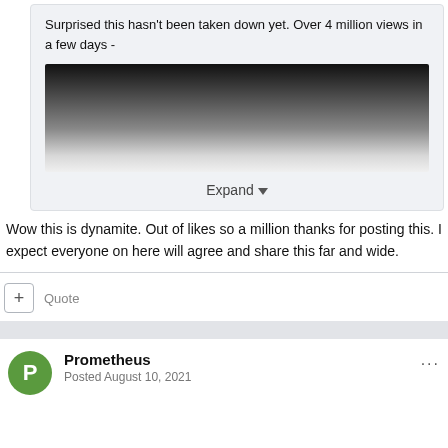Surprised this hasn't been taken down yet. Over 4 million views in a few days -
[Figure (photo): Embedded video thumbnail or image showing a dark gradient from black at top to light gray at bottom]
Expand
Wow this is dynamite. Out of likes so a million thanks for posting this. I expect everyone on here will agree and share this far and wide.
+ Quote
Prometheus
Posted August 10, 2021